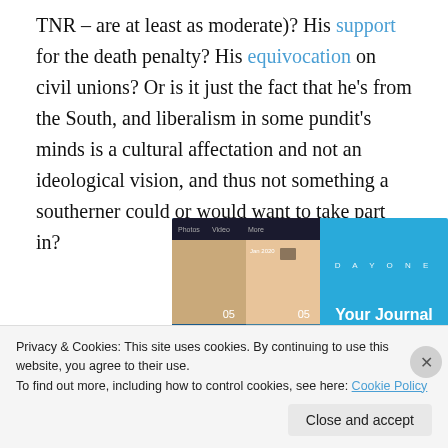TNR – are at least as moderate)? His support for the death penalty? His equivocation on civil unions? Or is it just the fact that he's from the South, and liberalism in some pundit's minds is a cultural affectation and not an ideological vision, and thus not something a southerner could or would want to take part in?
[Figure (screenshot): Day One app advertisement banner showing journal photos and the tagline 'Your Journal for life' on a blue background.]
Privacy & Cookies: This site uses cookies. By continuing to use this website, you agree to their use. To find out more, including how to control cookies, see here: Cookie Policy